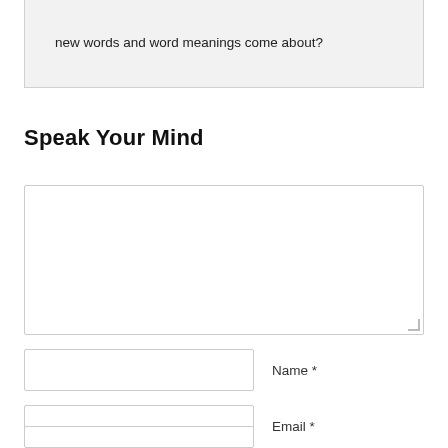new words and word meanings come about?
Speak Your Mind
[Comment textarea]
Name *
Email *
Website